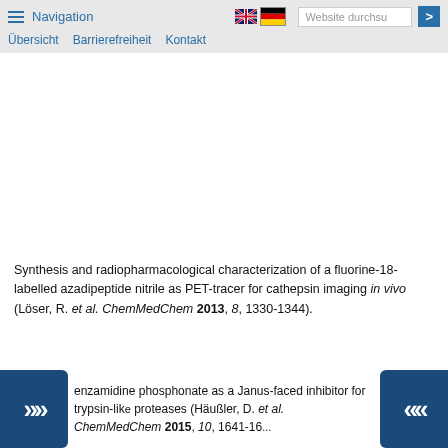Navigation  Übersicht  Barrierefreiheit  Kontakt
Synthesis and radiopharmacological characterization of a fluorine-18-labelled azadipeptide nitrile as PET-tracer for cathepsin imaging in vivo (Löser, R. et al. ChemMedChem 2013, 8, 1330-1344).
enzamidine phosphonate as a Janus-faced inhibitor for trypsin-like proteases (Häußler, D. et al. ChemMedChem 2015, 10, 1641-16...